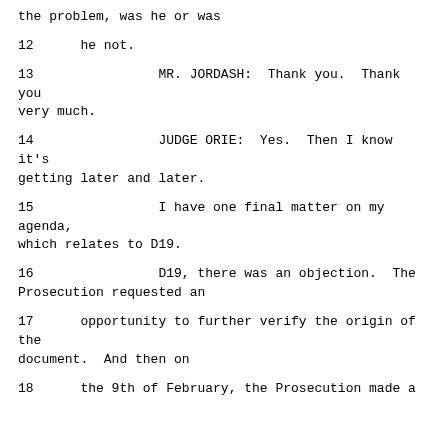the problem, was he or was
12      he not.
13              MR. JORDASH:  Thank you.  Thank you very much.
14              JUDGE ORIE:  Yes.  Then I know it's getting later and later.
15              I have one final matter on my agenda, which relates to D19.
16              D19, there was an objection.  The Prosecution requested an
17      opportunity to further verify the origin of the document.  And then on
18      the 9th of February, the Prosecution made a